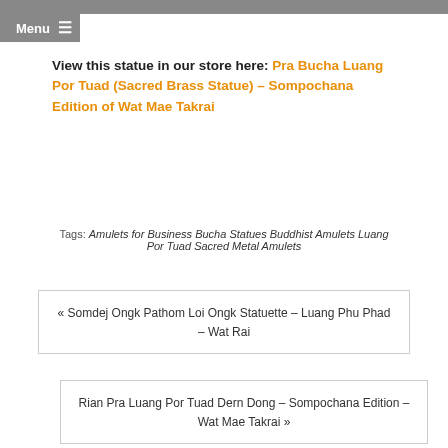Menu
View this statue in our store here: Pra Bucha Luang Por Tuad (Sacred Brass Statue) – Sompochana Edition of Wat Mae Takrai
Tags: Amulets for Business Bucha Statues Buddhist Amulets Luang Por Tuad Sacred Metal Amulets
« Somdej Ongk Pathom Loi Ongk Statuette – Luang Phu Phad – Wat Rai
Rian Pra Luang Por Tuad Dern Dong – Sompochana Edition – Wat Mae Takrai »